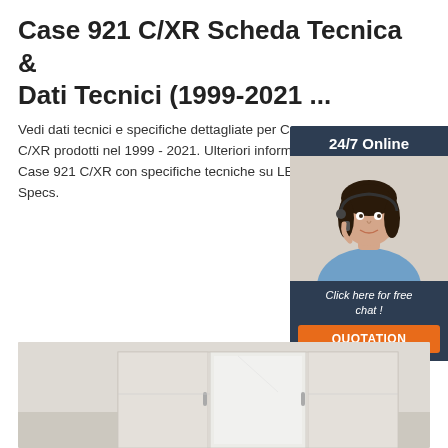Case 921 C/XR Scheda Tecnica & Dati Tecnici (1999-2021 ...
Vedi dati tecnici e specifiche dettagliate per Case 921 C/XR prodotti nel 1999 - 2021. Ulteriori informazioni Case 921 C/XR con specifiche tecniche su LE Specs.
[Figure (other): Orange 'Get Price' button]
[Figure (illustration): 24/7 Online chat widget with woman wearing headset photo, 'Click here for free chat!' text, and orange QUOTATION button]
[Figure (photo): Product photo showing white/beige wardrobe cabinet with sliding mirror panels]